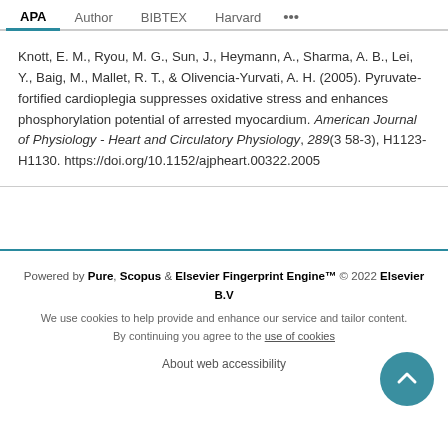APA | Author | BIBTEX | Harvard | ...
Knott, E. M., Ryou, M. G., Sun, J., Heymann, A., Sharma, A. B., Lei, Y., Baig, M., Mallet, R. T., & Olivencia-Yurvati, A. H. (2005). Pyruvate-fortified cardioplegia suppresses oxidative stress and enhances phosphorylation potential of arrested myocardium. American Journal of Physiology - Heart and Circulatory Physiology, 289(3 58-3), H1123-H1130. https://doi.org/10.1152/ajpheart.00322.2005
Powered by Pure, Scopus & Elsevier Fingerprint Engine™ © 2022 Elsevier B.V
We use cookies to help provide and enhance our service and tailor content. By continuing you agree to the use of cookies
About web accessibility